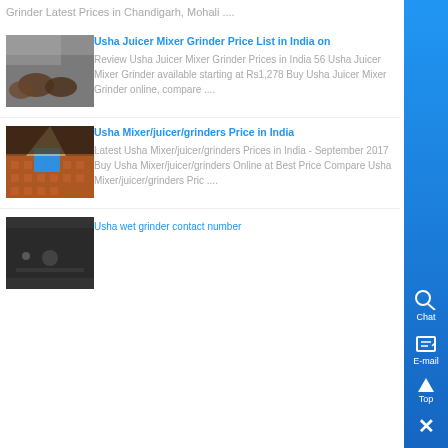Grinder Latest Prices in Chandigarh, Mohali ....
[Figure (photo): Industrial metal grinder parts/coils in a factory setting]
Usha Juicer Mixer Grinder Price List in India on
Review Usha Juicer Mixer Grinder Prices in India 56 Usha Juicer Mixer Grinder available starting at Rs1,278 Buy Usha Juicer Mixer Grinder online, compare ....
[Figure (photo): Industrial conveyor belt or processing line with blue object]
Usha Mixer/juicer/grinders Price in India
Latest Usha Mixer/juicer/grinders Prices in India - September 2017 Buy Usha Mixer/juicer/grinders Online at Best Price Compare Usha Mixer/juicer/grinders Pric ....
[Figure (photo): Dark industrial surface with machinery]
Usha wet grinder contact number